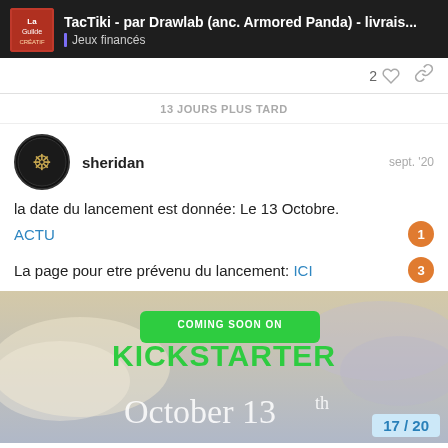TacTiki - par Drawlab (anc. Armored Panda) - livrais... | Jeux financés
2
13 JOURS PLUS TARD
sheridan
sept. '20
la date du lancement est donnée: Le 13 Octobre.
ACTU
La page pour etre prévenu du lancement: ICI
[Figure (screenshot): Kickstarter promotional banner showing 'COMING SOON ON KICKSTARTER' with green background, and 'October 13th' text below on a sky/clouds background]